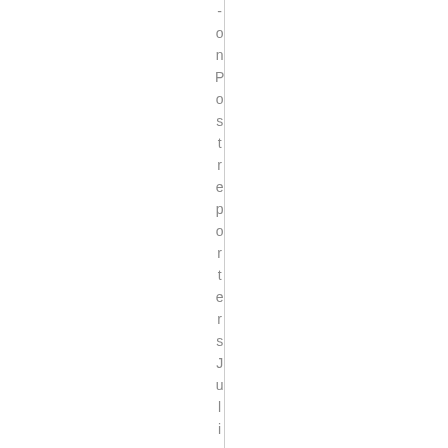on Post reporters Juliet Eil- n